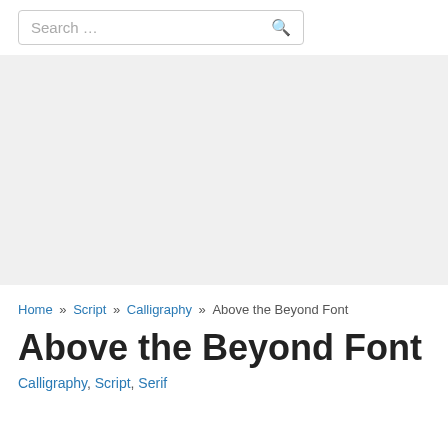[Figure (screenshot): Search bar with placeholder text 'Search …' and a search icon on the right]
[Figure (other): Gray advertisement placeholder area]
Home » Script » Calligraphy » Above the Beyond Font
Above the Beyond Font
Calligraphy, Script, Serif